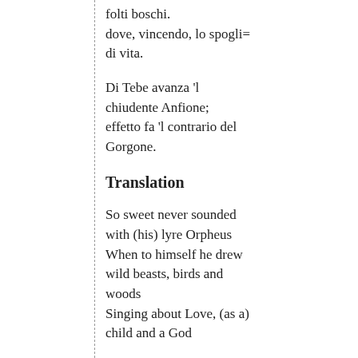folti boschi.
dove, vincendo, lo spogli=
di vita.
Di Tebe avanza 'l chiudente Anfione;
effetto fa 'l contrario del Gorgone.
Translation
So sweet never sounded with (his) lyre Orpheus
When to himself he drew wild beasts, birds and woods
Singing about Love, (as a) child and a God
As my cock from outside the woods
With such a note as never was heard
By Philomela in green woods